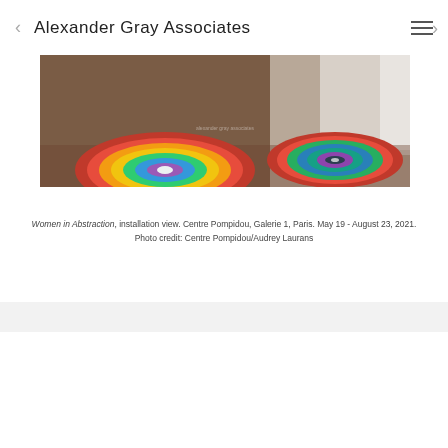Alexander Gray Associates
[Figure (photo): Installation view of Women in Abstraction at Centre Pompidou, Galerie 1, Paris, showing colorful circular textile artworks on a gallery floor, May 19 - August 23, 2021.]
Women in Abstraction, installation view. Centre Pompidou, Galerie 1, Paris. May 19 - August 23, 2021. Photo credit: Centre Pompidou/Audrey Laurans